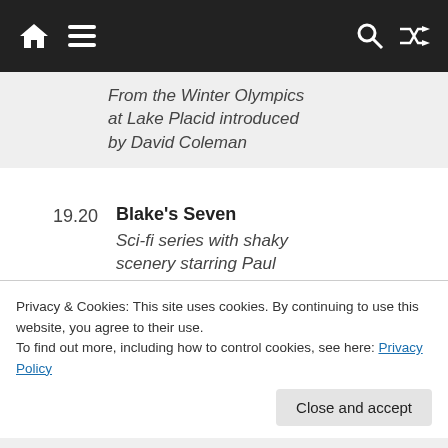Navigation bar with home, menu, search, and shuffle icons
From the Winter Olympics at Lake Placid introduced by David Coleman
19.20  Blake's Seven  Sci-fi series with shaky scenery starring Paul Darrow
20.10  The Rockford Files  James Garner a private
Privacy & Cookies: This site uses cookies. By continuing to use this website, you agree to their use.
To find out more, including how to control cookies, see here: Privacy Policy
the Men's Figure Skating